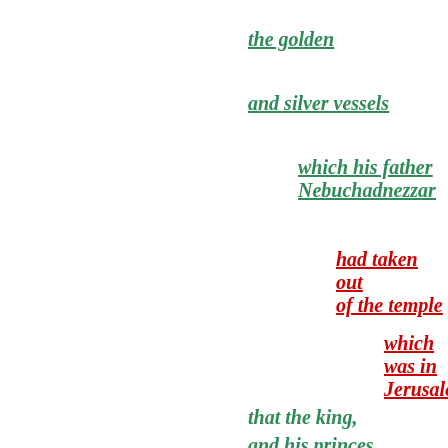the golden
and silver vessels
which his father Nebuchadnezzar
had taken out of the temple
which was in Jerusalem;
that the king,
and his princes,